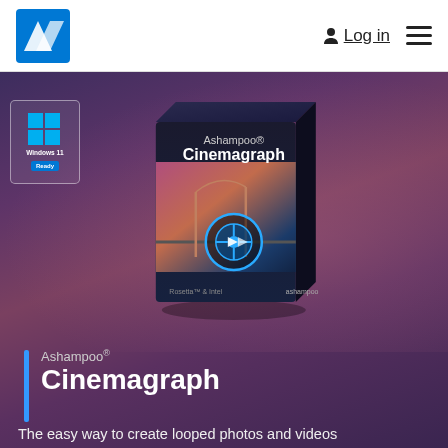[Figure (logo): Ashampoo logo - blue parallelogram shape in white header]
Log in  ☰
[Figure (photo): Ashampoo Cinemagraph software box with Golden Gate Bridge imagery on purple/sunset background]
[Figure (logo): Windows 11 Ready badge - white square with Windows logo and 'Windows 11 Ready' text]
Ashampoo® Cinemagraph
The easy way to create looped photos and videos
Windows 11
Windows 10
Windows 8
Windows 7